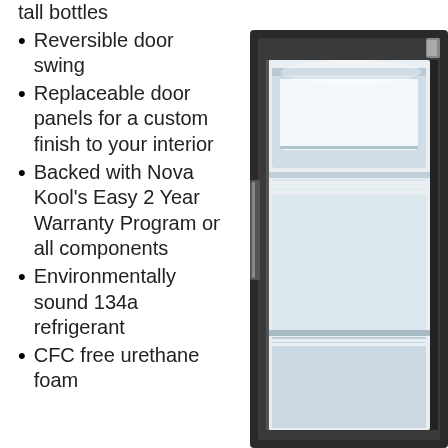tall bottles
Reversible door swing
Replaceable door panels for a custom finish to your interior
Backed with Nova Kool's Easy 2 Year Warranty Program on all components
Environmentally sound 134a refrigerant
CFC free urethane foam
[Figure (photo): Open refrigerator door showing interior shelves with glass door panel, black frame, and illuminated white interior]